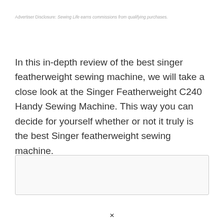Advertiser Disclosure: Sewing Life earns commissions from qualifying purchases.
In this in-depth review of the best singer featherweight sewing machine, we will take a close look at the Singer Featherweight C240 Handy Sewing Machine. This way you can decide for yourself whether or not it truly is the best Singer featherweight sewing machine.
[Figure (other): Empty light gray bordered box, likely a placeholder for an image.]